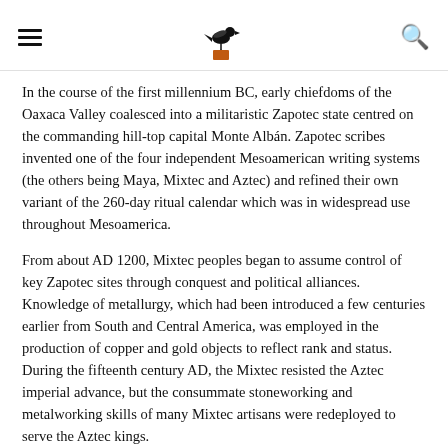[hamburger menu] [bird logo] [search icon]
In the course of the first millennium BC, early chiefdoms of the Oaxaca Valley coalesced into a militaristic Zapotec state centred on the commanding hill-top capital Monte Albán. Zapotec scribes invented one of the four independent Mesoamerican writing systems (the others being Maya, Mixtec and Aztec) and refined their own variant of the 260-day ritual calendar which was in widespread use throughout Mesoamerica.
From about AD 1200, Mixtec peoples began to assume control of key Zapotec sites through conquest and political alliances. Knowledge of metallurgy, which had been introduced a few centuries earlier from South and Central America, was employed in the production of copper and gold objects to reflect rank and status. During the fifteenth century AD, the Mixtec resisted the Aztec imperial advance, but the consummate stoneworking and metalworking skills of many Mixtec artisans were redeployed to serve the Aztec kings.